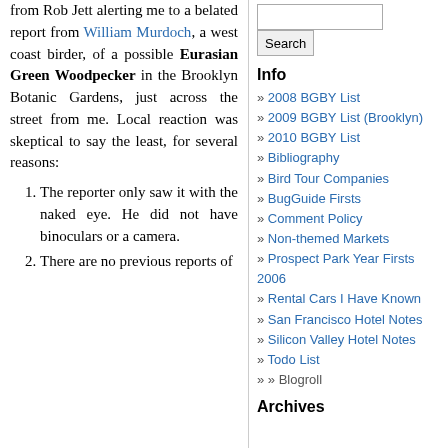from Rob Jett alerting me to a belated report from William Murdoch, a west coast birder, of a possible Eurasian Green Woodpecker in the Brooklyn Botanic Gardens, just across the street from me. Local reaction was skeptical to say the least, for several reasons:
The reporter only saw it with the naked eye. He did not have binoculars or a camera.
There are no previous reports of
Search
Info
2008 BGBY List
2009 BGBY List (Brooklyn)
2010 BGBY List
Bibliography
Bird Tour Companies
BugGuide Firsts
Comment Policy
Non-themed Markets
Prospect Park Year Firsts 2006
Rental Cars I Have Known
San Francisco Hotel Notes
Silicon Valley Hotel Notes
Todo List
Blogroll
Archives